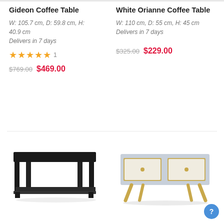Gideon Coffee Table
W: 105.7 cm, D: 59.8 cm, H: 40.9 cm
Delivers in 7 days
★★★★★ 1
$769.00 $469.00
White Orianne Coffee Table
W: 110 cm, D: 55 cm, H: 45 cm
Delivers in 7 days
$325.00 $229.00
[Figure (photo): Black coffee table with lower shelf]
[Figure (photo): White and gold coffee table with two drawers and wooden legs]